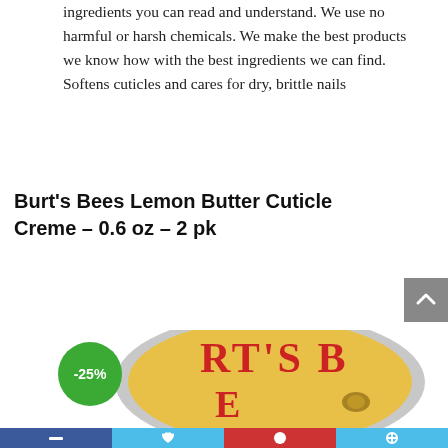ingredients you can read and understand. We use no harmful or harsh chemicals. We make the best products we know how with the best ingredients we can find. Softens cuticles and cares for dry, brittle nails
Burt's Bees Lemon Butter Cuticle Creme – 0.6 oz – 2 pk
[Figure (photo): A tin lid of Burt's Bees Lemon Butter Cuticle Creme product with a green circular badge showing -25% discount. The tin shows partial text 'RT'S BE' in red lettering on a golden background.]
Social sharing toolbar with dark blue, light blue, red, and light blue segments